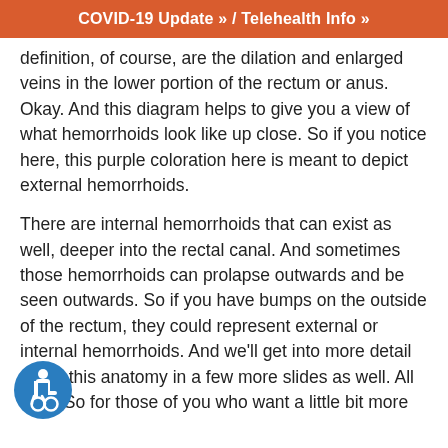COVID-19 Update » / Telehealth Info »
definition, of course, are the dilation and enlarged veins in the lower portion of the rectum or anus. Okay. And this diagram helps to give you a view of what hemorrhoids look like up close. So if you notice here, this purple coloration here is meant to depict external hemorrhoids.
There are internal hemorrhoids that can exist as well, deeper into the rectal canal. And sometimes those hemorrhoids can prolapse outwards and be seen outwards. So if you have bumps on the outside of the rectum, they could represent external or internal hemorrhoids. And we'll get into more detail about this anatomy in a few more slides as well. All right. So for those of you who want a little bit more
[Figure (illustration): Blue circular accessibility icon (wheelchair symbol) in the bottom-left corner of the page]